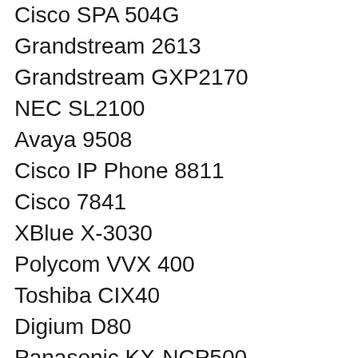Cisco SPA 504G
Grandstream 2613
Grandstream GXP2170
NEC SL2100
Avaya 9508
Cisco IP Phone 8811
Cisco 7841
XBlue X-3030
Polycom VVX 400
Toshiba CIX40
Digium D80
Panasonic KX-NCP500
Polycom VVX 350
Cisco 8841
Polycom VVX 350